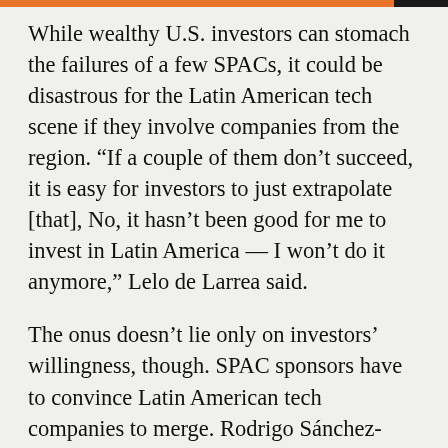While wealthy U.S. investors can stomach the failures of a few SPACs, it could be disastrous for the Latin American tech scene if they involve companies from the region. “If a couple of them don’t succeed, it is easy for investors to just extrapolate [that], No, it hasn’t been good for me to invest in Latin America — I won’t do it anymore,” Lelo de Larrea said.
The onus doesn’t lie only on investors’ willingness, though. SPAC sponsors have to convince Latin American tech companies to merge. Rodrigo Sánchez-Ríos is the co-founder and president of La Haus, a Colombian